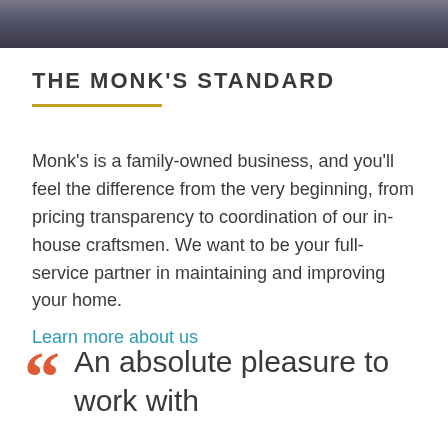[Figure (photo): Partial photo of people at the top of the page, cropped — shows heads/shoulders of individuals]
THE MONK'S STANDARD
Monk's is a family-owned business, and you'll feel the difference from the very beginning, from pricing transparency to coordination of our in-house craftsmen. We want to be your full-service partner in maintaining and improving your home.
Learn more about us
An absolute pleasure to work with